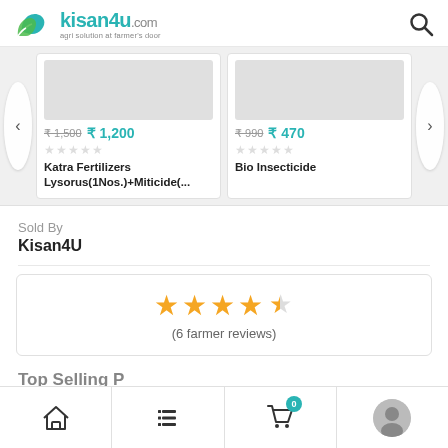kisan4u.com - agri solution at farmer's door
[Figure (screenshot): Product carousel showing two product cards: Katra Fertilizers Lysorus(1Nos.)+Miticide(... at ₹1,200 (was ₹1,500) and Bio Insecticide at ₹470 (was ₹990), both with empty star ratings]
Sold By
Kisan4U
[Figure (infographic): Rating box showing 4.5 stars (6 farmer reviews)]
(6 farmer reviews)
Bottom navigation bar with home, list, cart (0), and profile icons